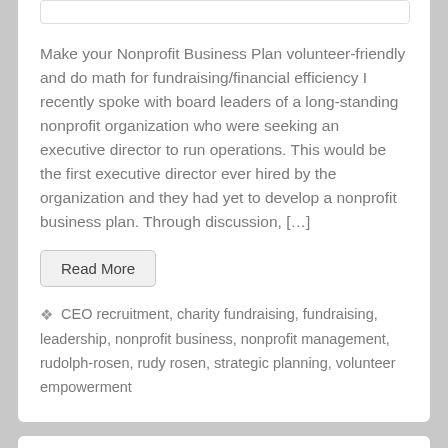[Figure (other): Partial image placeholder at top of card]
Make your Nonprofit Business Plan volunteer-friendly and do math for fundraising/financial efficiency I recently spoke with board leaders of a long-standing nonprofit organization who were seeking an executive director to run operations. This would be the first executive director ever hired by the organization and they had yet to develop a nonprofit business plan. Through discussion, […]
Read More
CEO recruitment, charity fundraising, fundraising, leadership, nonprofit business, nonprofit management, rudolph-rosen, rudy rosen, strategic planning, volunteer empowerment
Fundraising strategy choices require focus